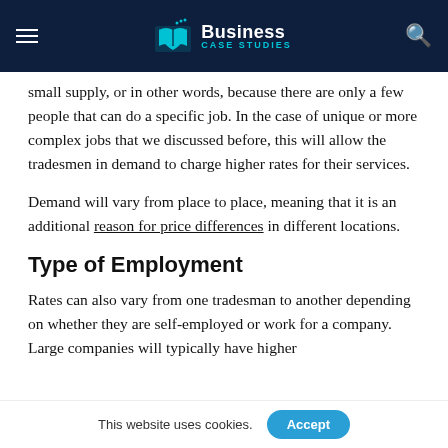Business Case Studies
small supply, or in other words, because there are only a few people that can do a specific job. In the case of unique or more complex jobs that we discussed before, this will allow the tradesmen in demand to charge higher rates for their services.
Demand will vary from place to place, meaning that it is an additional reason for price differences in different locations.
Type of Employment
Rates can also vary from one tradesman to another depending on whether they are self-employed or work for a company. Large companies will typically have higher rates than self-employed professionals.
This website uses cookies.